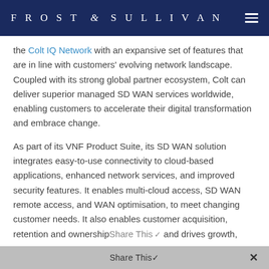FROST & SULLIVAN
the Colt IQ Network with an expansive set of features that are in line with customers' evolving network landscape. Coupled with its strong global partner ecosystem, Colt can deliver superior managed SD WAN services worldwide, enabling customers to accelerate their digital transformation and embrace change.
As part of its VNF Product Suite, its SD WAN solution integrates easy-to-use connectivity to cloud-based applications, enhanced network services, and improved security features. It enables multi-cloud access, SD WAN remote access, and WAN optimisation, to meet changing customer needs. It also enables customer acquisition, retention and ownership... and drives growth,